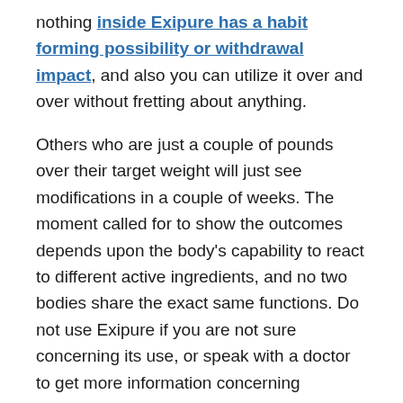nothing inside Exipure has a habit forming possibility or withdrawal impact, and also you can utilize it over and over without fretting about anything.
Others who are just a couple of pounds over their target weight will just see modifications in a couple of weeks. The moment called for to show the outcomes depends upon the body's capability to react to different active ingredients, and no two bodies share the exact same functions. Do not use Exipure if you are not sure concerning its use, or speak with a doctor to get more information concerning supplement security.
Exipure Reviews – The